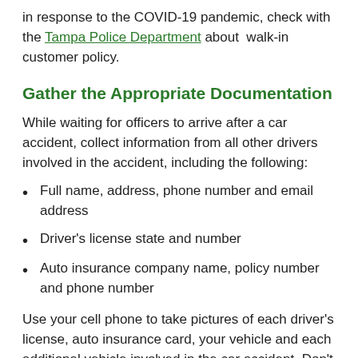in response to the COVID-19 pandemic, check with the Tampa Police Department about  walk-in customer policy.
Gather the Appropriate Documentation
While waiting for officers to arrive after a car accident, collect information from all other drivers involved in the accident, including the following:
Full name, address, phone number and email address
Driver's license state and number
Auto insurance company name, policy number and phone number
Use your cell phone to take pictures of each driver's license, auto insurance card, your vehicle and each additional vehicle involved in the car accident. Don't rely on verbal communication. Having as much information as possible will only help you and your case later on. Try to keep this exchange